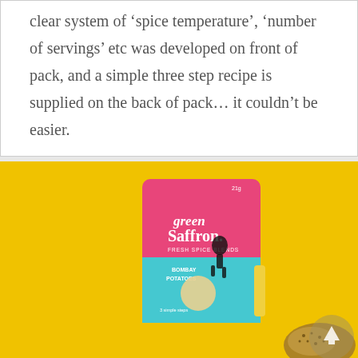clear system of 'spice temperature', 'number of servings' etc was developed on front of pack, and a simple three step recipe is supplied on the back of pack… it couldn't be easier.
[Figure (photo): Product photo of a Green Saffron spice blend packet for Bombay Potatoes on a bright yellow background. The pink and teal packet features a vintage-style illustration of a woman juggling. Coriander seeds visible in lower right.]